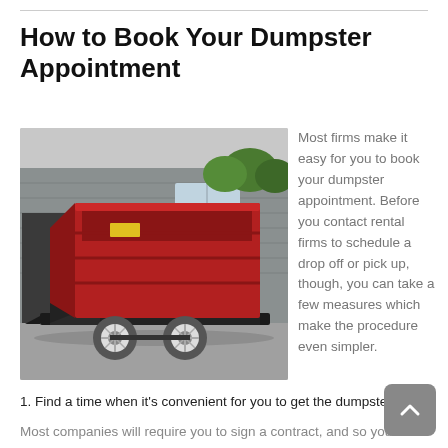How to Book Your Dumpster Appointment
[Figure (photo): A large red dumpster on a black trailer with two axles, parked in a paved lot in front of a gray metal building with green trees visible in the background.]
Most firms make it easy for you to book your dumpster appointment. Before you contact rental firms to schedule a drop off or pick up, though, you can take a few measures which make the procedure even simpler.
1. Find a time when it's convenient for you to get the dumpster.
Most companies will require you to sign a contract, and so you will